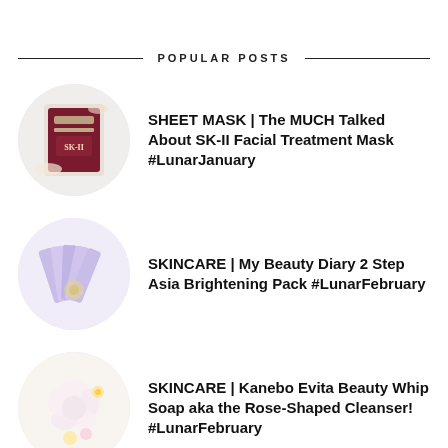POPULAR POSTS
SHEET MASK | The MUCH Talked About SK-II Facial Treatment Mask #LunarJanuary
SKINCARE | My Beauty Diary 2 Step Asia Brightening Pack #LunarFebruary
SKINCARE | Kanebo Evita Beauty Whip Soap aka the Rose-Shaped Cleanser! #LunarFebruary